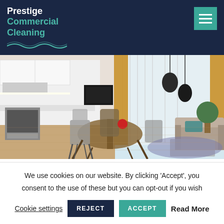Prestige Commercial Cleaning
[Figure (photo): Interior photo of a modern apartment showing a dining area with glass table and wicker chairs, a kitchen with oven and white cabinets, pendant lights, large windows with golden curtains, and a living room with a sofa and coffee table]
Cleaning services we offer
We use cookies on our website. By clicking 'Accept', you consent to the use of these but you can opt-out if you wish
Cookie settings  REJECT  ACCEPT  Read More